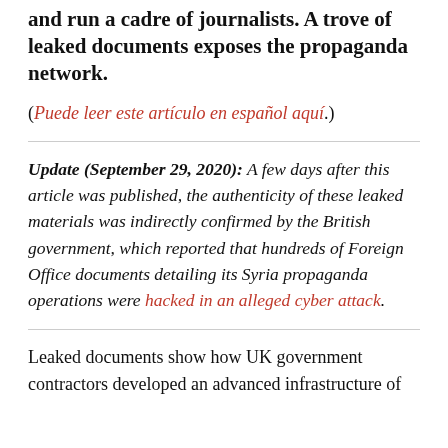and run a cadre of journalists. A trove of leaked documents exposes the propaganda network.
(Puede leer este artículo en español aquí.)
Update (September 29, 2020): A few days after this article was published, the authenticity of these leaked materials was indirectly confirmed by the British government, which reported that hundreds of Foreign Office documents detailing its Syria propaganda operations were hacked in an alleged cyber attack.
Leaked documents show how UK government contractors developed an advanced infrastructure of